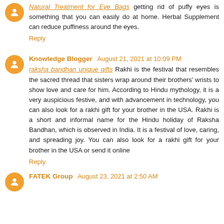Natural Treatment for Eye Bags getting rid of puffy eyes is something that you can easily do at home. Herbal Supplement can reduce puffiness around the eyes.
Reply
Knowledge Blogger August 21, 2021 at 10:09 PM
raksha bandhan unique gifts Rakhi is the festival that resembles the sacred thread that sisters wrap around their brothers' wrists to show love and care for him. According to Hindu mythology, it is a very auspicious festive, and with advancement in technology, you can also look for a rakhi gift for your brother in the USA. Rakhi is a short and informal name for the Hindu holiday of Raksha Bandhan, which is observed in India. It is a festival of love, caring, and spreading joy. You can also look for a rakhi gift for your brother in the USA or send it online
Reply
FATEK Group August 23, 2021 at 2:50 AM